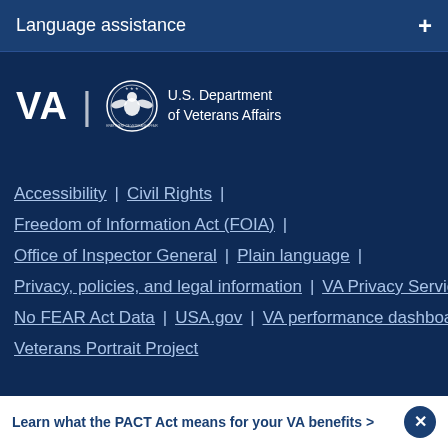Language assistance +
[Figure (logo): VA | U.S. Department of Veterans Affairs seal and wordmark]
Accessibility | Civil Rights |
Freedom of Information Act (FOIA) |
Office of Inspector General | Plain language |
Privacy, policies, and legal information | VA Privacy Service |
No FEAR Act Data | USA.gov | VA performance dashboard |
Veterans Portrait Project
Learn what the PACT Act means for your VA benefits >